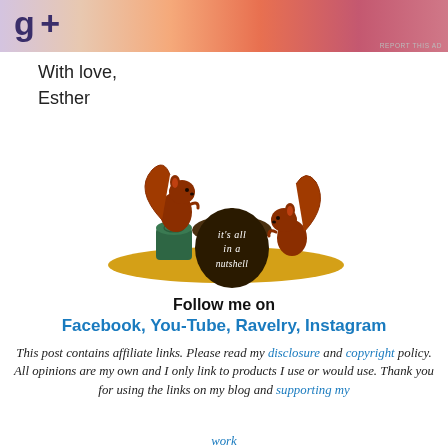[Figure (illustration): Partial advertisement banner with gradient background (peach to pink/coral) and partial text visible, with 'REPORT THIS AD' text in small print at bottom right.]
With love,
Esther
[Figure (logo): Logo illustration: two red-brown squirrels flanking a large dark acorn with text 'it's all in a nutshell' in white script. A green tree stump is on the left squirrel's side. All sit on a golden/yellow oval ground.]
Follow me on
Facebook, You-Tube, Ravelry, Instagram
This post contains affiliate links. Please read my disclosure and copyright policy. All opinions are my own and I only link to products I use or would use. Thank you for using the links on my blog and supporting my work